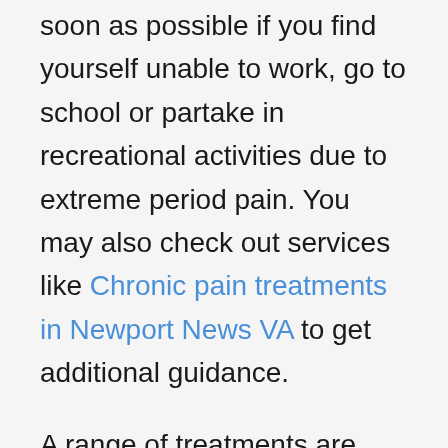soon as possible if you find yourself unable to work, go to school or partake in recreational activities due to extreme period pain. You may also check out services like Chronic pain treatments in Newport News VA to get additional guidance.
A range of treatments are available depending on the severity of your condition, and treatments are specifically targeted to each individual, depending on their symptoms and circumstances. There are many options available, ranging from healthy lifestyle changes, pain relief medications and hormone therapy. In some cases, surgery such as laparoscopy